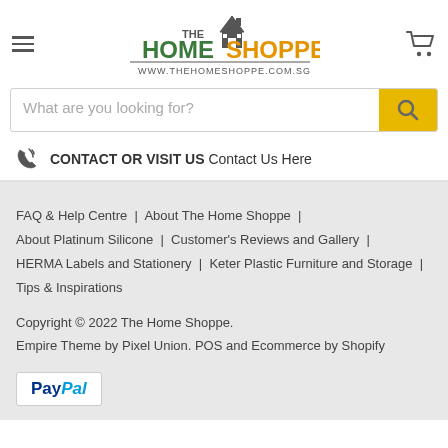[Figure (logo): The Home Shoppe logo with house icon and text HOME SHOPPE, www.thehomeshoppe.com.sg]
[Figure (other): Search bar with placeholder text 'What are you looking for?' and yellow search button]
CONTACT OR VISIT US Contact Us Here
FAQ & Help Centre | About The Home Shoppe | About Platinum Silicone | Customer's Reviews and Gallery | HERMA Labels and Stationery | Keter Plastic Furniture and Storage | Tips & Inspirations
Copyright © 2022 The Home Shoppe.
Empire Theme by Pixel Union. POS and Ecommerce by Shopify
[Figure (logo): PayPal payment logo]